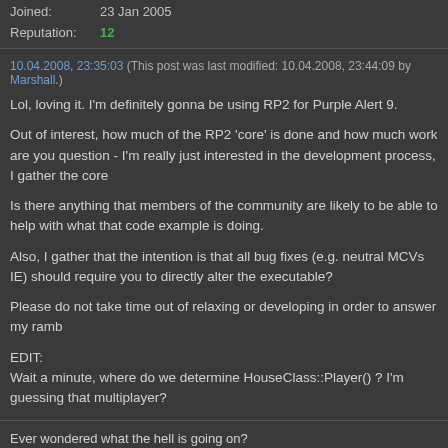Joined: 23 Jan 2005
Reputation: 12
10.04.2008, 23:35:03 (This post was last modified: 10.04.2008, 23:44:09 by Marshall.)
Lol, loving it. I'm definitely gonna be using RP2 for Purple Alert 9.
Out of interest, how much of the RP2 'core' is done and how much work are you question - I'm really just interested in the development process, I gather the core
Is there anything that members of the community are likely to be able to help with what that code example is doing.
Also, I gather that the intention is that all bug fixes (e.g. neutral MCVs IE) should require you to directly alter the executable?
Please do not take time out of relaxing or developing in order to answer my ramb
EDIT:
Wait a minute, where do we determine HouseClass::Player() ? I'm guessing that multiplayer?
Ever wondered what the hell is going on?
Believe me friend you're not the only one.
--Lysdexia